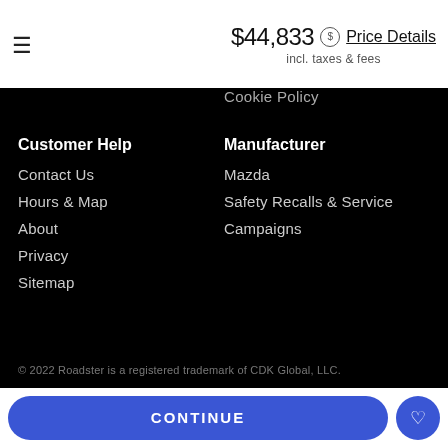$44,833 Price Details
incl. taxes & fees
Cookie Policy
Customer Help
Contact Us
Hours & Map
About
Privacy
Sitemap
Manufacturer
Mazda
Safety Recalls & Service
Campaigns
Language
English
© 2022 Roadster is a registered trademark of CDK Global, LLC.
CONTINUE